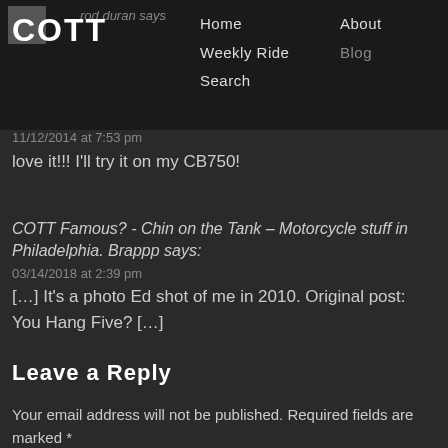COTT | Home | Weekly Ride | Search | About | Blog
rod duran says
11/12/2014 at 7:53 pm
love it!!! I'll try it on my CB750!
COTT Famous? - Chin on the Tank – Motorcycle stuff in Philadelphia. Brappp says:
03/14/2018 at 2:39 pm
[…] It's a photo Ed shot of me in 2010. Original post: You Hang Five? […]
Leave a Reply
Your email address will not be published. Required fields are marked *